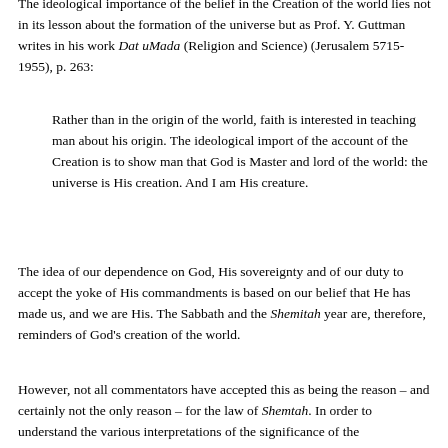The ideological importance of the belief in the Creation of the world lies not in its lesson about the formation of the universe but as Prof. Y. Guttman writes in his work Dat uMada (Religion and Science) (Jerusalem 5715-1955), p. 263:
Rather than in the origin of the world, faith is interested in teaching man about his origin. The ideological import of the account of the Creation is to show man that God is Master and lord of the world: the universe is His creation. And I am His creature.
The idea of our dependence on God, His sovereignty and of our duty to accept the yoke of His commandments is based on our belief that He has made us, and we are His. The Sabbath and the Shemitah year are, therefore, reminders of God's creation of the world.
However, not all commentators have accepted this as being the reason – and certainly not the only reason – for the law of Shemtah. In order to understand the various interpretations of the significance of the